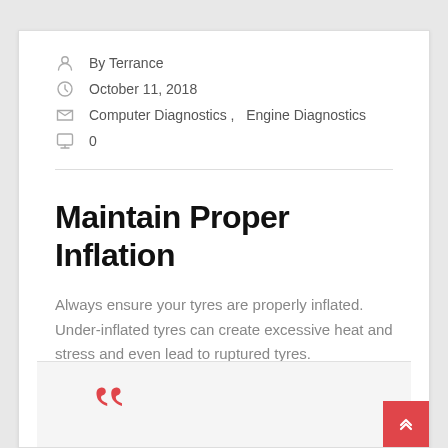By Terrance
October 11, 2018
Computer Diagnostics , Engine Diagnostics
0
Maintain Proper Inflation
Always ensure your tyres are properly inflated. Under-inflated tyres can create excessive heat and stress and even lead to ruptured tyres.